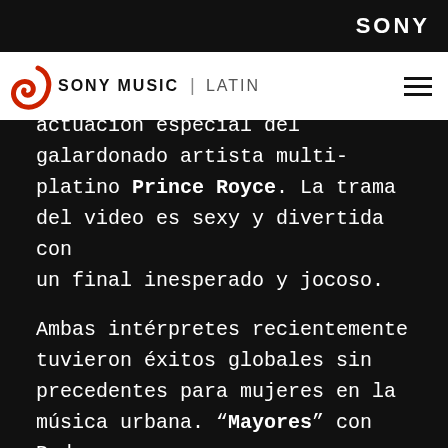SONY
[Figure (logo): Sony Music Latin logo with red treble clef icon and navigation hamburger menu]
actuación especial del galardonado artista multi-platino Prince Royce. La trama del video es sexy y divertida con un final inesperado y jocoso.

Ambas intérpretes recientemente tuvieron éxitos globales sin precedentes para mujeres en la música urbana. “Mayores” con Bad Bunny, el último sencillo de Becky G, ha sido su éxito más grande hasta la fecha. Alcanzó el puesto #1 en la lista “Latin